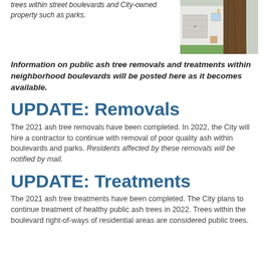trees within street boulevards and City-owned property such as parks.
[Figure (photo): Photograph of a large ash tree trunk in front of a white house with a garage]
Information on public ash tree removals and treatments within neighborhood boulevards will be posted here as it becomes available.
UPDATE: Removals
The 2021 ash tree removals have been completed. In 2022, the City will hire a contractor to continue with removal of poor quality ash within boulevards and parks. Residents affected by these removals will be notified by mail.
UPDATE: Treatments
The 2021 ash tree treatments have been completed. The City plans to continue treatment of healthy public ash trees in 2022. Trees within the boulevard right-of-ways of residential areas are considered public trees.